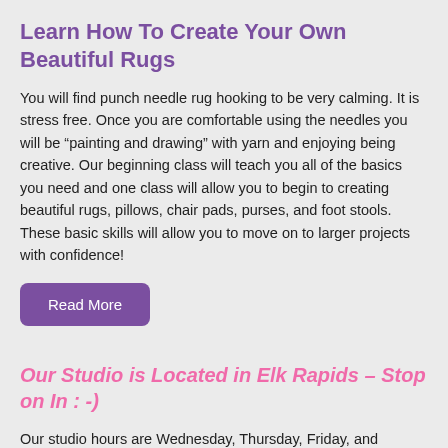Learn How To Create Your Own Beautiful Rugs
You will find punch needle rug hooking to be very calming. It is stress free. Once you are comfortable using the needles you will be “painting and drawing” with yarn and enjoying being creative. Our beginning class will teach you all of the basics you need and one class will allow you to begin to creating beautiful rugs, pillows, chair pads, purses, and foot stools. These basic skills will allow you to move on to larger projects with confidence!
Read More
Our Studio is Located in Elk Rapids – Stop on In : -)
Our studio hours are Wednesday, Thursday, Friday, and Saturday, 10-4, other times by appointment.